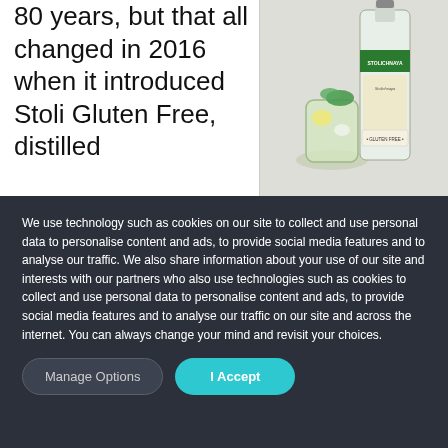80 years, but that all changed in 2016 when it introduced Stoli Gluten Free, distilled
[Figure (photo): Stolichnaya Gluten Free vodka bottle next to a cocktail glass with ice, lemon, and mint garnish]
We use technology such as cookies on our site to collect and use personal data to personalise content and ads, to provide social media features and to analyse our traffic. We also share information about your use of our site and interests with our partners who also use technologies such as cookies to collect and use personal data to personalise content and ads, to provide social media features and to analyse our traffic on our site and across the internet. You can always change your mind and revisit your choices.
Manage Options
I Accept